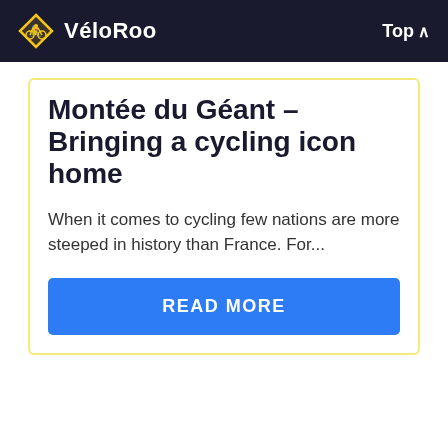VéloRoo  Top
Montée du Géant – Bringing a cycling icon home
When it comes to cycling few nations are more steeped in history than France. For...
READ MORE